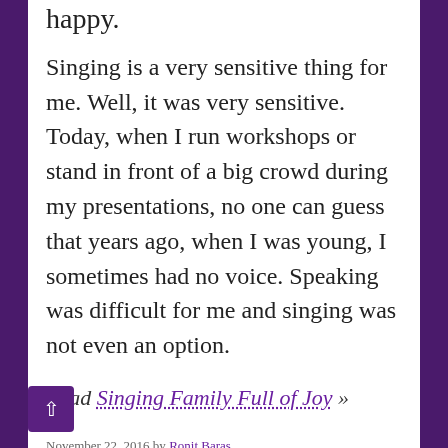happy.
Singing is a very sensitive thing for me. Well, it was very sensitive. Today, when I run workshops or stand in front of a big crowd during my presentations, no one can guess that years ago, when I was young, I sometimes had no voice. Speaking was difficult for me and singing was not even an option.
Read Singing Family Full of Joy »
November 22, 2016 by Ronit Baras
In: Parenting
Tags: activity, art, body image, fun, happiness, kids / children, music,